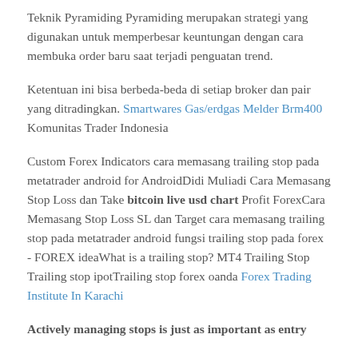Teknik Pyramiding Pyramiding merupakan strategi yang digunakan untuk memperbesar keuntungan dengan cara membuka order baru saat terjadi penguatan trend.
Ketentuan ini bisa berbeda-beda di setiap broker dan pair yang ditradingkan. Smartwares Gas/erdgas Melder Brm400 Komunitas Trader Indonesia
Custom Forex Indicators cara memasang trailing stop pada metatrader android for AndroidDidi Muliadi Cara Memasang Stop Loss dan Take bitcoin live usd chart Profit ForexCara Memasang Stop Loss SL dan Target cara memasang trailing stop pada metatrader android fungsi trailing stop pada forex - FOREX ideaWhat is a trailing stop? MT4 Trailing Stop Trailing stop ipotTrailing stop forex oanda Forex Trading Institute In Karachi
Actively managing stops is just as important as entry